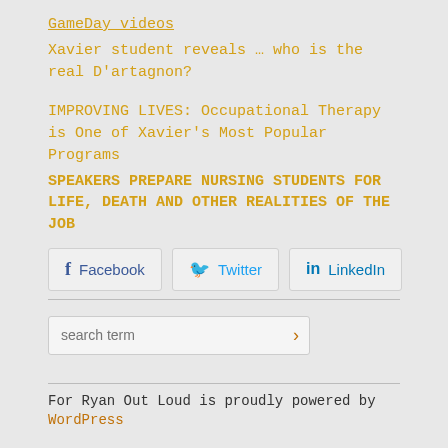GameDay videos
Xavier student reveals … who is the real D'artagnon?
IMPROVING LIVES: Occupational Therapy is One of Xavier's Most Popular Programs
SPEAKERS PREPARE NURSING STUDENTS FOR LIFE, DEATH AND OTHER REALITIES OF THE JOB
[Figure (infographic): Social share buttons for Facebook, Twitter, and LinkedIn]
[Figure (infographic): Search input field with a search term placeholder and arrow button]
For Ryan Out Loud is proudly powered by WordPress